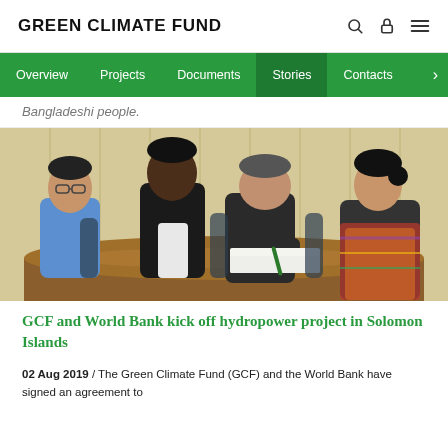GREEN CLIMATE FUND
Overview | Projects | Documents | Stories | Contacts
Bangladeshi people.
[Figure (photo): Four people seated at a conference table. One man is signing documents while others look on, including a man in a blue shirt, a man in a black jacket smiling, and a woman in colorful attire.]
GCF and World Bank kick off hydropower project in Solomon Islands
02 Aug 2019 / The Green Climate Fund (GCF) and the World Bank have signed an agreement to